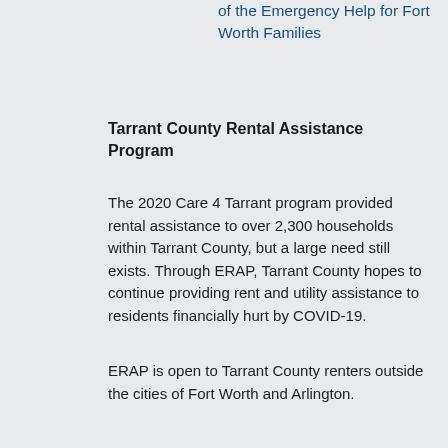of the Emergency Help for Fort Worth Families
Tarrant County Rental Assistance Program
The 2020 Care 4 Tarrant program provided rental assistance to over 2,300 households within Tarrant County, but a large need still exists. Through ERAP, Tarrant County hopes to continue providing rent and utility assistance to residents financially hurt by COVID-19.
ERAP is open to Tarrant County renters outside the cities of Fort Worth and Arlington.
Click here for more information about Tarrant County Rental Assistance Program
Click here to view FAQs about ERAP